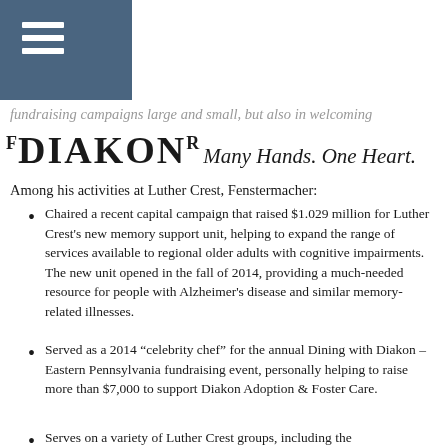[hamburger menu icon]
fundraising campaigns large and small, but also in welcoming
[Figure (logo): Diakon logo with text 'Many Hands. One Heart.']
Among his activities at Luther Crest, Fenstermacher:
Chaired a recent capital campaign that raised $1.029 million for Luther Crest's new memory support unit, helping to expand the range of services available to regional older adults with cognitive impairments. The new unit opened in the fall of 2014, providing a much-needed resource for people with Alzheimer's disease and similar memory-related illnesses.
Served as a 2014 “celebrity chef” for the annual Dining with Diakon – Eastern Pennsylvania fundraising event, personally helping to raise more than $7,000 to support Diakon Adoption & Foster Care.
Serves on a variety of Luther Crest groups, including the